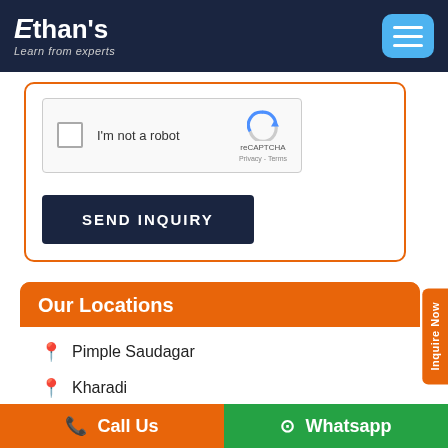[Figure (logo): Ethan's - Learn from experts logo on dark navy header with hamburger menu icon]
[Figure (screenshot): reCAPTCHA widget with checkbox labeled 'I'm not a robot']
SEND INQUIRY
Our Locations
Pimple Saudagar
Kharadi
Inquire Now
Call Us
Whatsapp